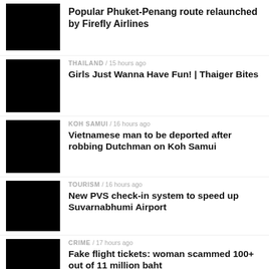[Figure (photo): Black thumbnail image for Phuket-Penang article]
Popular Phuket-Penang route relaunched by Firefly Airlines
[Figure (photo): Black thumbnail image for Girls Just Wanna Have Fun article]
THAILAND / 15 hours ago
Girls Just Wanna Have Fun! | Thaiger Bites
[Figure (photo): Black thumbnail image for Vietnamese man article]
KOH SAMUI / 16 hours ago
Vietnamese man to be deported after robbing Dutchman on Koh Samui
[Figure (photo): Black thumbnail image for PVS check-in article]
TOURISM / 16 hours ago
New PVS check-in system to speed up Suvarnabhumi Airport
[Figure (photo): Black thumbnail image for fake flight tickets article]
CRIME / 17 hours ago
Fake flight tickets: woman scammed 100+ out of 11 million baht